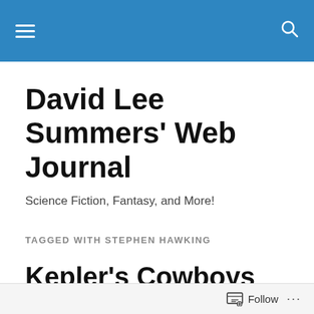David Lee Summers' Web Journal — navigation bar
David Lee Summers' Web Journal
Science Fiction, Fantasy, and More!
TAGGED WITH STEPHEN HAWKING
Kepler's Cowboys Cover Reveal
I have nearly finished selecting and editing stories and poems for Hadrosaur Productions' new anthology
Follow